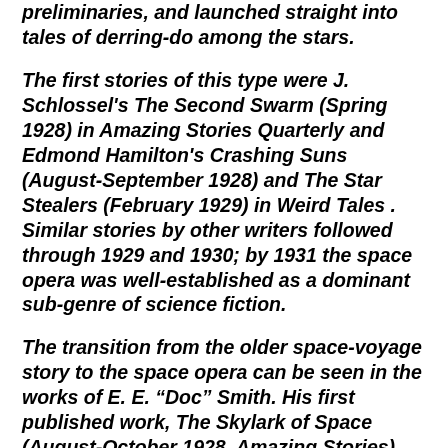preliminaries, and launched straight into tales of derring-do among the stars.
The first stories of this type were J. Schlossel's The Second Swarm (Spring 1928) in Amazing Stories Quarterly and Edmond Hamilton's Crashing Suns (August-September 1928) and The Star Stealers (February 1929) in Weird Tales . Similar stories by other writers followed through 1929 and 1930; by 1931 the space opera was well-established as a dominant sub-genre of science fiction.
The transition from the older space-voyage story to the space opera can be seen in the works of E. E. “Doc” Smith. His first published work, The Skylark of Space (August-October 1928, Amazing Stories), merges the traditional tale of a scientist inventing a space-drive with